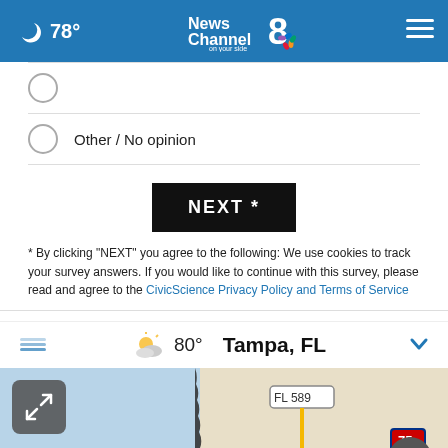🌙 78° News Channel 8 on your side [NBC logo] ≡
Other / No opinion
[Figure (other): Black NEXT * button]
* By clicking "NEXT" you agree to the following: We use cookies to track your survey answers. If you would like to continue with this survey, please read and agree to the CivicScience Privacy Policy and Terms of Service
[Figure (other): Weather bar showing cloud icon, 80°, Tampa FL, with layers icon and chevron. Below is a map screenshot of the Tampa area showing FL 589 and I-75 roads, with an expand button and close button, and a Veterans ad banner at the bottom reading 'Veterans, you're not alone.']